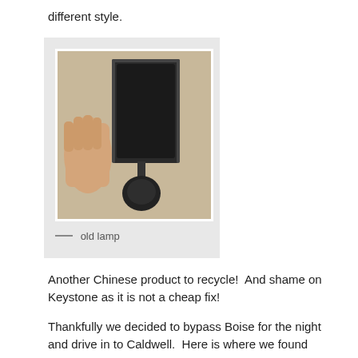different style.
[Figure (photo): A hand holding the back of a dark-colored rectangular lamp fixture being removed from or attached to a mounting bracket, with a round dark base visible at the bottom. Photographed against a light beige wall.]
— old lamp
Another Chinese product to recycle!  And shame on Keystone as it is not a cheap fix!
Thankfully we decided to bypass Boise for the night and drive in to Caldwell.  Here is where we found maybe the First Place winner in our RV park search. The folks at Ambassador RV Park have done it right.  Wide paved drives, graveled parking areas 80 ft long, concrete patios